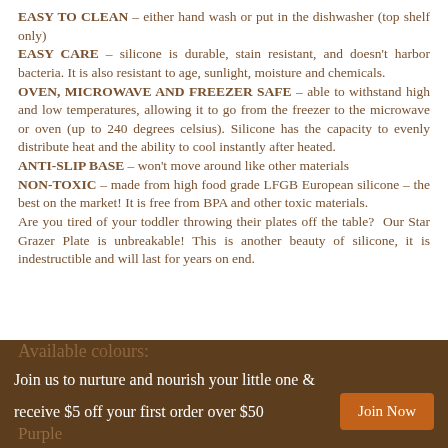EASY TO CLEAN – either hand wash or put in the dishwasher (top shelf only)
EASY CARE – silicone is durable, stain resistant, and doesn't harbor bacteria. It is also resistant to age, sunlight, moisture and chemicals.
OVEN, MICROWAVE AND FREEZER SAFE – able to withstand high and low temperatures, allowing it to go from the freezer to the microwave or oven (up to 240 degrees celsius). Silicone has the capacity to evenly distribute heat and the ability to cool instantly after heated.
ANTI-SLIP BASE – won't move around like other materials
NON-TOXIC – made from high food grade LFGB European silicone – the best on the market! It is free from BPA and other toxic materials.
Are you tired of your toddler throwing their plates off the table? Our Star Grazer Plate is unbreakable! This is another beauty of silicone, it is indestructible and will last for years on end.
Join us to nurture and nourish your little one & receive $5 off your first order over $50  [Join Now]